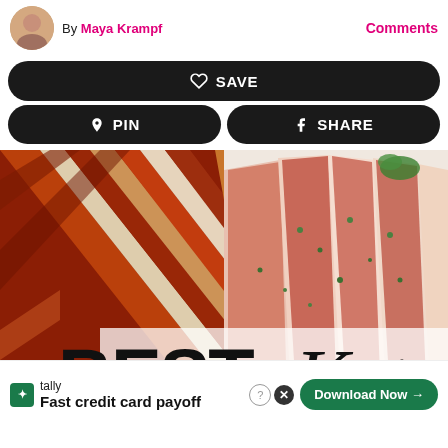By Maya Krampf
Comments
♡ SAVE
⊕ PIN
f SHARE
[Figure (photo): Food collage showing crispy bacon strips on the left and sliced grilled flank steak with herbs on the right, with 'BEST Keto' text overlay at the bottom]
🟩 tally   Fast credit card payoff   Download Now →